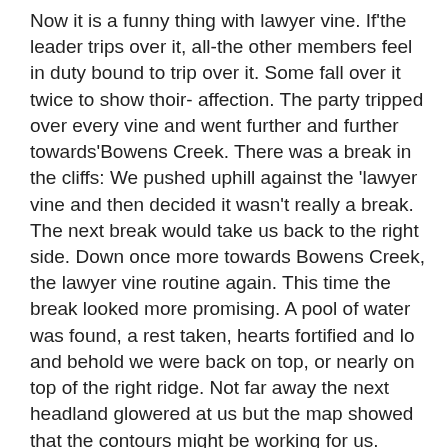Now it is a funny thing with lawyer vine. If the leader trips over it, all-the other members feel in duty bound to trip over it. Some fall over it twice to show thoir- affection. The party tripped over every vine and went further and further towards'Bowens Creek. There was a break in the cliffs: We pushed uphill against the 'lawyer vine and then decided it wasn't really a break. The next break would take us back to the right side. Down once more towards Bowens Creek, the lawyer vine routine again. This time the break looked more promising. A pool of water was found, a rest taken, hearts fortified and lo and behold we were back on top, or nearly on top of the right ridge. Not far away the next headland glowered at us but the map showed that the contours might be working for us. Previously they had all huddled together no doubt on the theory that unity is strength. There was a brief diversion while Nike Pace photographed a startling rock lily, as brilliant as a sunburst. We all felt happier. Just drop into this saddle, sidle to the north and presto, dinner,on the creek. A brief zigsagging down to the saddle,: a short rest